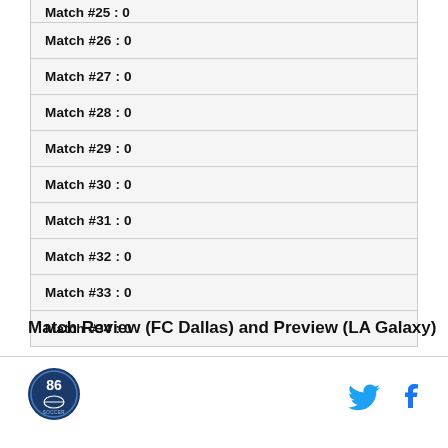| Match #25 : 0 |
| Match #26 : 0 |
| Match #27 : 0 |
| Match #28 : 0 |
| Match #29 : 0 |
| Match #30 : 0 |
| Match #31 : 0 |
| Match #32 : 0 |
| Match #33 : 0 |
| Match #34 : 0 |
Match Review (FC Dallas) and Preview (LA Galaxy)
[Figure (logo): Round logo with number 86 and soccer theme in dark blue]
[Figure (logo): Twitter bird icon in blue]
[Figure (logo): Facebook f icon in dark blue]